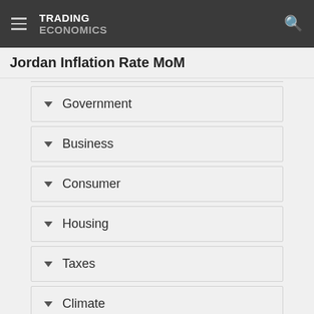TRADING ECONOMICS
Jordan Inflation Rate MoM
Government
Business
Consumer
Housing
Taxes
Climate
More Indicators